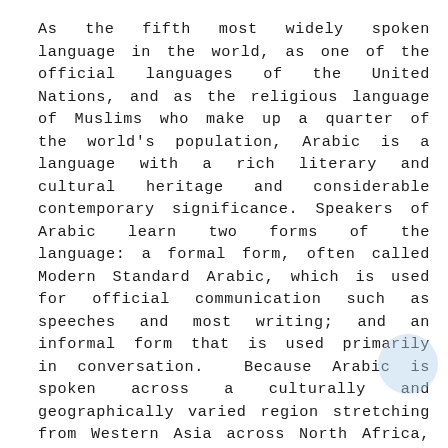As the fifth most widely spoken language in the world, as one of the official languages of the United Nations, and as the religious language of Muslims who make up a quarter of the world's population, Arabic is a language with a rich literary and cultural heritage and considerable contemporary significance. Speakers of Arabic learn two forms of the language: a formal form, often called Modern Standard Arabic, which is used for official communication such as speeches and most writing; and an informal form that is used primarily in conversation.  Because Arabic is spoken across a culturally and geographically varied region stretching from Western Asia across North Africa, there are many dialects of spoken Arabic. Students in Arabic courses at UNC learn both Modern Standard Arabic and a dialect of spoken Arabic (either Egyptian or